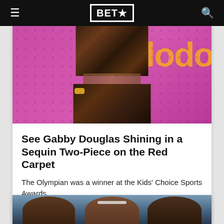BET★
[Figure (photo): Gabby Douglas wearing a sequin two-piece outfit on a pink/magenta red carpet background with partial orange text visible]
See Gabby Douglas Shining in a Sequin Two-Piece on the Red Carpet
The Olympian was a winner at the Kids' Choice Sports Awards.
07/14/2017
[Figure (photo): Three athletes shown from the shoulders up, partially visible at bottom of page]